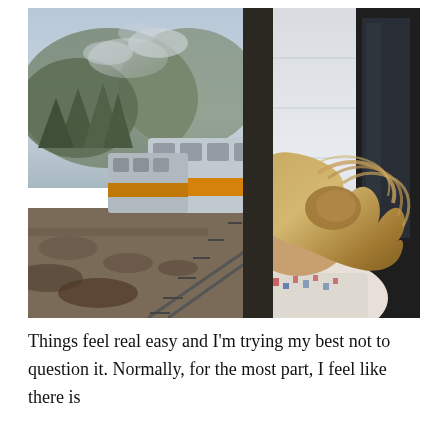[Figure (photo): A woman with long blonde hair leaning her head out of a train window while the train is in motion. The wind is blowing her hair. The train curves away in the background along rocky terrain with trees and misty mountains. The train has yellow and silver/grey passenger cars.]
Things feel real easy and I'm trying my best not to question it. Normally, for the most part, I feel like there is